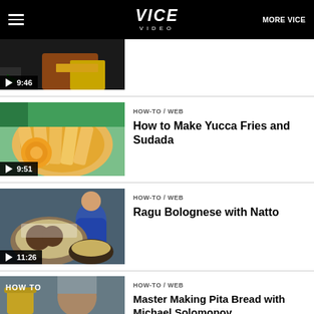VICE VIDEO | MORE VICE
[Figure (screenshot): Partial video thumbnail showing fried food with play button and timestamp 9:46]
HOW-TO / WEB
How to Make Yucca Fries and Sudada
[Figure (screenshot): Video thumbnail showing yucca fries on a plate with dipping sauce, play button, timestamp 9:51]
HOW-TO / WEB
Ragu Bolognese with Natto
[Figure (screenshot): Video thumbnail showing a chef preparing ragu bolognese with natto, play button, timestamp 11:26]
HOW-TO / WEB
Master Making Pita Bread with Michael Solomonov
[Figure (screenshot): Partial video thumbnail showing a chef with HOW TO text overlay and yellow pot in background]